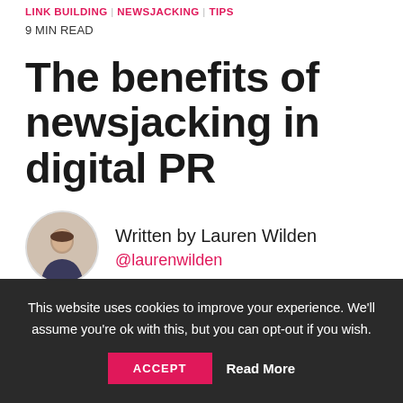LINK BUILDING | NEWSJACKING | TIPS
9 MIN READ
The benefits of newsjacking in digital PR
Written by Lauren Wilden
@laurenwilden
This website uses cookies to improve your experience. We'll assume you're ok with this, but you can opt-out if you wish.
ACCEPT   Read More